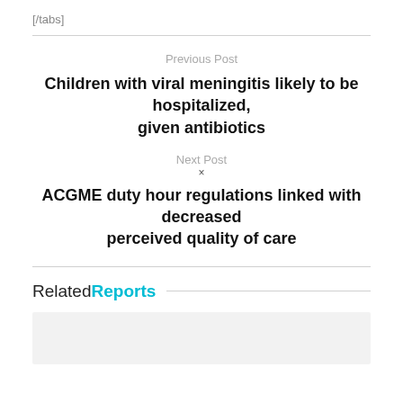[/tabs]
Previous Post
Children with viral meningitis likely to be hospitalized, given antibiotics
Next Post
×
ACGME duty hour regulations linked with decreased perceived quality of care
RelatedReports